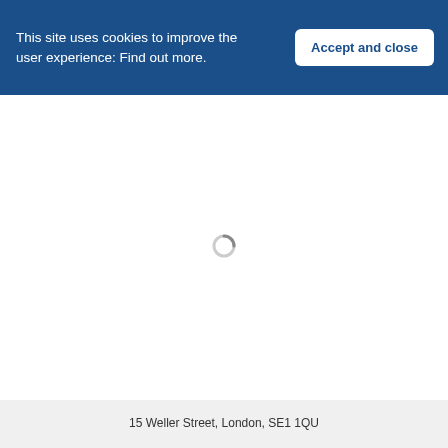This site uses cookies to improve the user experience: Find out more.
Accept and close
[Figure (other): Loading spinner icon in the center of the white page area]
15 Weller Street, London, SE1 1QU